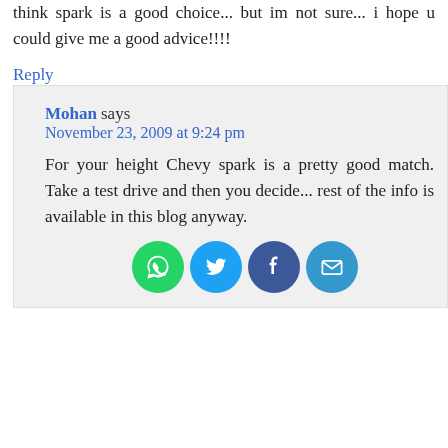think spark is a good choice... but im not sure... i hope u could give me a good advice!!!!
Reply
Mohan says
November 23, 2009 at 9:24 pm
For your height Chevy spark is a pretty good match. Take a test drive and then you decide... rest of the info is available in this blog anyway.
[Figure (infographic): Social sharing icons: WhatsApp, Twitter, Facebook, Email]